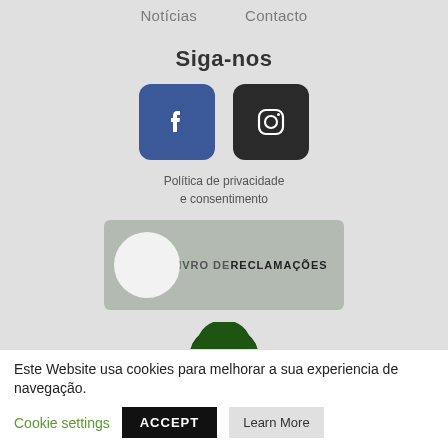Notícias   Contacto
Siga-nos
[Figure (logo): Facebook icon (blue rounded square) and Instagram icon (dark rounded square) side by side]
Política de privacidade e consentimento
[Figure (logo): Livro de Reclamações badge with white circle and text 'LIVRO DE RECLAMAÇÕES']
[Figure (logo): Carvalhão Torto logo: stylized oak tree on green hill]
Carvalhão Torto
Este Website usa cookies para melhorar a sua experiencia de navegação.
Cookie settings   ACCEPT   Learn More